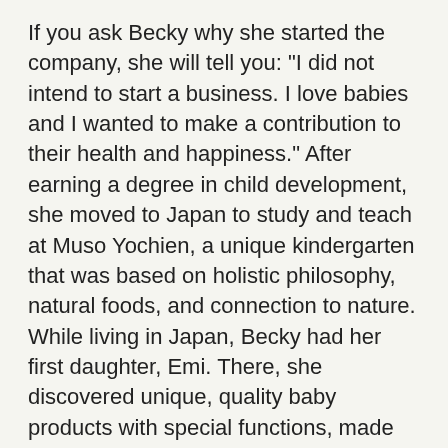If you ask Becky why she started the company, she will tell you: "I did not intend to start a business. I love babies and I wanted to make a contribution to their health and happiness." After earning a degree in child development, she moved to Japan to study and teach at Muso Yochien, a unique kindergarten that was based on holistic philosophy, natural foods, and connection to nature. While living in Japan, Becky had her first daughter, Emi. There, she discovered unique, quality baby products with special functions, made from natural materials and cute designs.
When Becky moved back to the U.S. and had her second daughter, Mari, she couldn't find the same quality products, so started importing them from Japan for her daughter. "At that time", she recalls, "there were not a lot of options, so I became inspired to provide